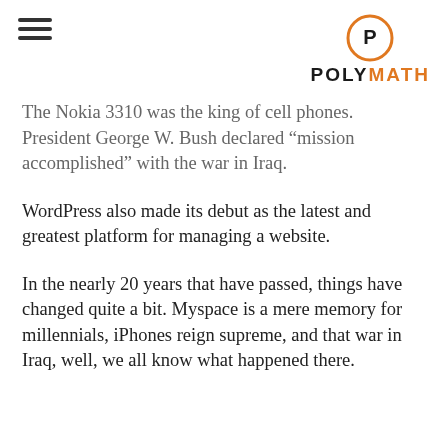POLYMATH
The Nokia 3310 was the king of cell phones. President George W. Bush declared “mission accomplished” with the war in Iraq.
WordPress also made its debut as the latest and greatest platform for managing a website.
In the nearly 20 years that have passed, things have changed quite a bit. Myspace is a mere memory for millennials, iPhones reign supreme, and that war in Iraq, well, we all know what happened there.